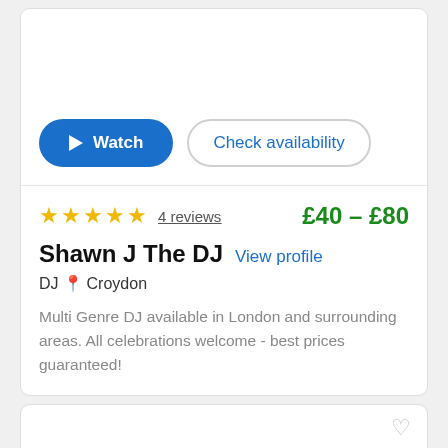[Figure (screenshot): Watch and Check availability buttons at bottom of a listing card image area]
★★★★★ 4 reviews   £40 – £80
Shawn J The DJ  View profile
DJ  📍 Croydon
Multi Genre DJ available in London and surrounding areas. All celebrations welcome - best prices guaranteed!